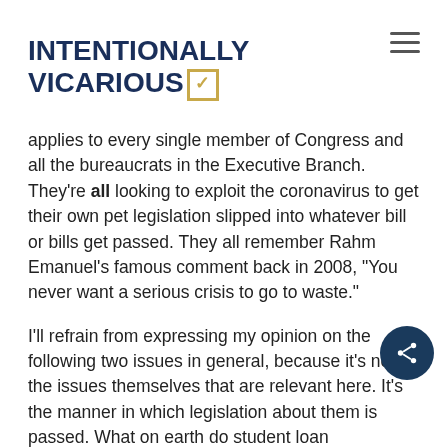INTENTIONALLY VICARIOUS
applies to every single member of Congress and all the bureaucrats in the Executive Branch. They're all looking to exploit the coronavirus to get their own pet legislation slipped into whatever bill or bills get passed. They all remember Rahm Emanuel's famous comment back in 2008, “You never want a serious crisis to go to waste.”
I’ll refrain from expressing my opinion on the following two issues in general, because it’s not the issues themselves that are relevant here. It’s the manner in which legislation about them is passed. What on earth do student loan forgiveness and funding abortion via Planned Parenthood have to do with...